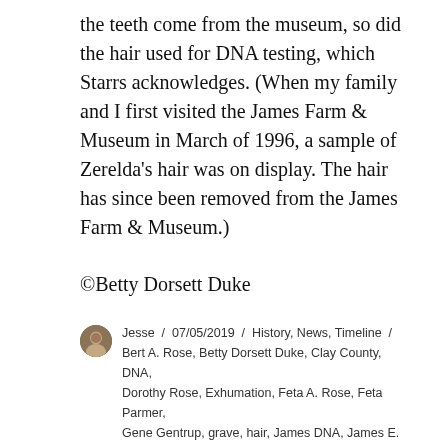the teeth come from the museum, so did the hair used for DNA testing, which Starrs acknowledges. (When my family and I first visited the James Farm & Museum in March of 1996, a sample of Zerelda's hair was on display. The hair has since been removed from the James Farm & Museum.)
©Betty Dorsett Duke
Jesse / 07/05/2019 / History, News, Timeline / Bert A. Rose, Betty Dorsett Duke, Clay County, DNA, Dorothy Rose, Exhumation, Feta A. Rose, Feta Parmer, Gene Gentrup, grave, hair, James DNA, James E. Starrs, James Farm and Museum, Jesse James, John Hartman, Kearney Courier, law, Mark Nikkel, Milton Perry, Missouri, Mt. Olivet, mtDNA, Oklahoma City, Prof. Starrs, Professor Starrs, Robert A. Jackson, Social Security, Stephen Caruso,